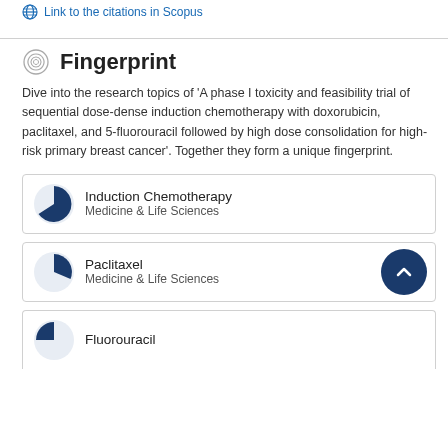Link to the citations in Scopus
Fingerprint
Dive into the research topics of 'A phase I toxicity and feasibility trial of sequential dose-dense induction chemotherapy with doxorubicin, paclitaxel, and 5-fluorouracil followed by high dose consolidation for high-risk primary breast cancer'. Together they form a unique fingerprint.
| Topic | Field |
| --- | --- |
| Induction Chemotherapy | Medicine & Life Sciences |
| Paclitaxel | Medicine & Life Sciences |
| Fluorouracil | Medicine & Life Sciences |